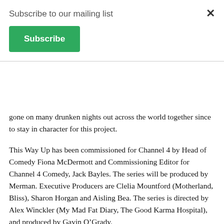Subscribe to our mailing list
Subscribe
gone on many drunken nights out across the world together since to stay in character for this project.
This Way Up has been commissioned for Channel 4 by Head of Comedy Fiona McDermott and Commissioning Editor for Channel 4 Comedy, Jack Bayles. The series will be produced by Merman. Executive Producers are Clelia Mountford (Motherland, Bliss), Sharon Horgan and Aisling Bea. The series is directed by Alex Winckler (My Mad Fat Diary, The Good Karma Hospital), and produced by Gavin O'Grady.
“Channel 4 have supported and backed me in many ways for years now, so I am over the